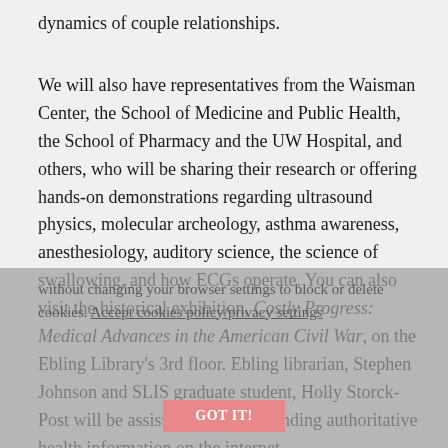dynamics of couple relationships.
We will also have representatives from the Waisman Center, the School of Medicine and Public Health, the School of Pharmacy and the UW Hospital, and others, who will be sharing their research or offering hands-on demonstrations regarding ultrasound physics, molecular archeology, asthma awareness, anesthesiology, auditory science, the science of swallowing, and how ECGs operate. You can also visit the historical exhibition, Costly Progress: Medical Advances in the American Civil War, on the Ebling Library's 3rd floor. Ebling librarian, Stephen Johnson and SLIS graduate student, Holly Storck-Post will be assisting visitors in finding authoritative health information on the internet.